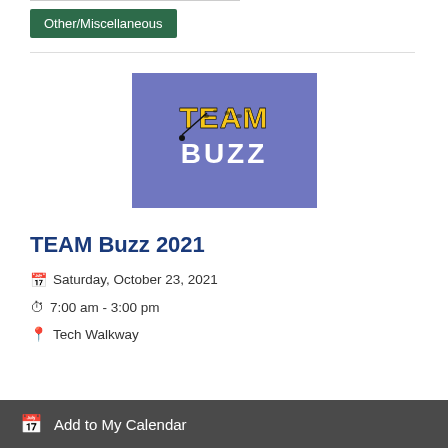Other/Miscellaneous
[Figure (logo): TEAM Buzz 2021 event logo on blue/purple background with stylized text]
TEAM Buzz 2021
Saturday, October 23, 2021
7:00 am - 3:00 pm
Tech Walkway
Add to My Calendar